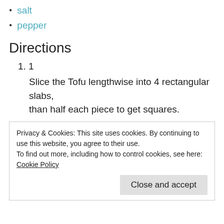salt
pepper
Directions
1
Slice the Tofu lengthwise into 4 rectangular slabs, than half each piece to get squares.
Privacy & Cookies: This site uses cookies. By continuing to use this website, you agree to their use.
To find out more, including how to control cookies, see here: Cookie Policy